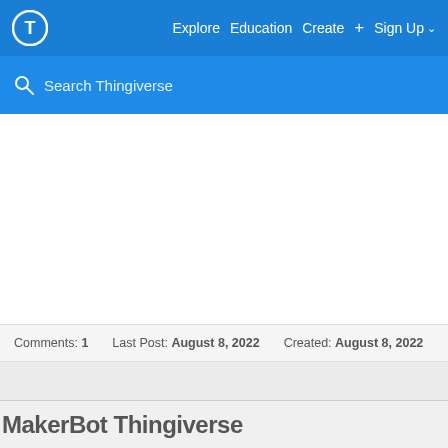Explore  Education  Create  +  Sign Up
Search Thingiverse
Comments: 1   Last Post: August 8, 2022   Created: August 8, 2022
[Figure (screenshot): Gray placeholder rectangle]
MakerBot Thingiverse